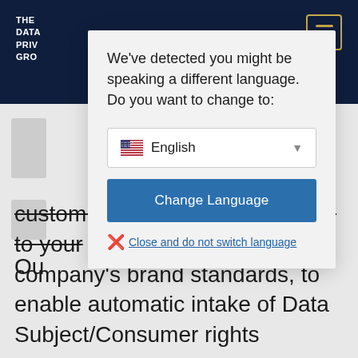THE DATA PRIVACY GROUP
We've detected you might be speaking a different language. Do you want to change to:
English (dropdown)
Change Language
Close and do not switch language
Our custom web forms, fully branded to your company's brand standards, to enable automatic intake of Data Subject/Consumer rights